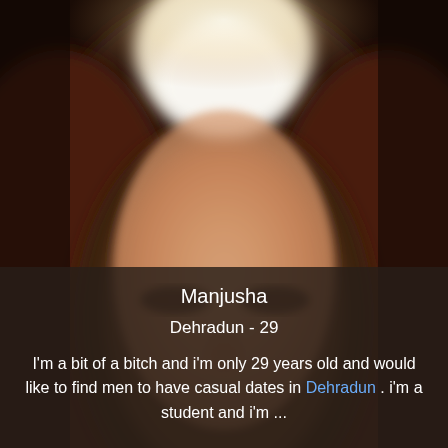[Figure (photo): Blurred/pixelated portrait photo of a person with long dark reddish hair, face obscured for privacy, dark background]
Manjusha
Dehradun - 29
I'm a bit of a bitch and i'm only 29 years old and would like to find men to have casual dates in Dehradun . i'm a student and i'm ...